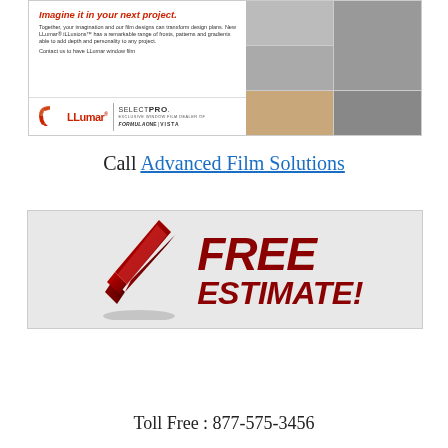[Figure (photo): LLumar window film advertisement banner showing office interior photos with LLumar SelectPro branding and product text]
Call Advanced Film Solutions
[Figure (infographic): Red checkmark with bold italic dark red text reading FREE ESTIMATE! on light gray background]
Toll Free : 877-575-3456